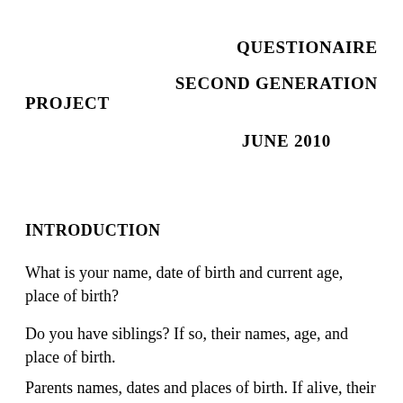QUESTIONAIRE
SECOND GENERATION PROJECT
JUNE 2010
INTRODUCTION
What is your name, date of birth and current age, place of birth?
Do you have siblings? If so, their names, age, and place of birth.
Parents names, dates and places of birth. If alive, their age and place of residence. If dead